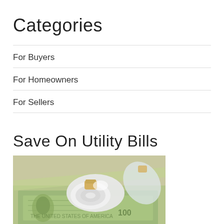Categories
For Buyers
For Homeowners
For Sellers
Save On Utility Bills
[Figure (photo): Energy-saving CFL light bulb resting on US dollar bills]